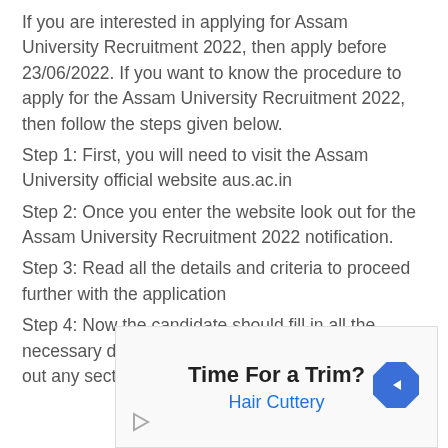If you are interested in applying for Assam University Recruitment 2022, then apply before 23/06/2022. If you want to know the procedure to apply for the Assam University Recruitment 2022, then follow the steps given below.
Step 1: First, you will need to visit the Assam University official website aus.ac.in
Step 2: Once you enter the website look out for the Assam University Recruitment 2022 notification.
Step 3: Read all the details and criteria to proceed further with the application
Step 4: Now the candidate should fill in all the necessary details. Make sure that you do not miss out any section
[Figure (other): Advertisement banner for Hair Cuttery with text 'Time For a Trim?' and 'Hair Cuttery', a blue diamond-shaped navigation icon on the right, and a play button icon on the lower left.]